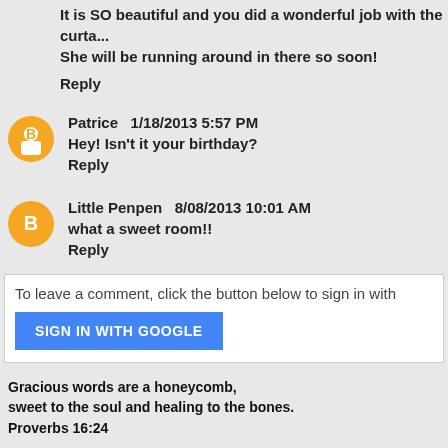It is SO beautiful and you did a wonderful job with the curta... She will be running around in there so soon!
Reply
Patrice  1/18/2013 5:57 PM
Hey! Isn't it your birthday?
Reply
Little Penpen  8/08/2013 10:01 AM
what a sweet room!!
Reply
To leave a comment, click the button below to sign in with
SIGN IN WITH GOOGLE
Gracious words are a honeycomb,
sweet to the soul and healing to the bones.
Proverbs 16:24